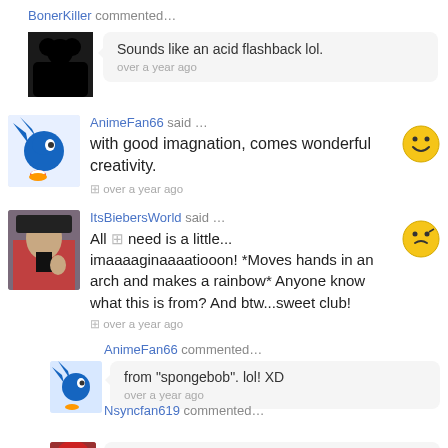BonerKiller commented...
Sounds like an acid flashback lol. over a year ago
AnimeFan66 said … with good imagnation, comes wonderful creativity. over a year ago
ItsBiebersWorld said … All need is a little... imaaaaginaaaatiooon! *Moves hands in an arch and makes a rainbow* Anyone know what this is from? And btw...sweet club! over a year ago
AnimeFan66 commented... from "spongebob". lol! XD over a year ago
Nsyncfan619 commented... spongebob